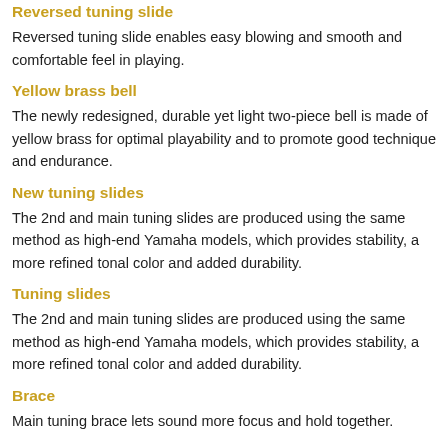Reversed tuning slide
Reversed tuning slide enables easy blowing and smooth and comfortable feel in playing.
Yellow brass bell
The newly redesigned, durable yet light two-piece bell is made of yellow brass for optimal playability and to promote good technique and endurance.
New tuning slides
The 2nd and main tuning slides are produced using the same method as high-end Yamaha models, which provides stability, a more refined tonal color and added durability.
Tuning slides
The 2nd and main tuning slides are produced using the same method as high-end Yamaha models, which provides stability, a more refined tonal color and added durability.
Brace
Main tuning brace lets sound more focus and hold together.